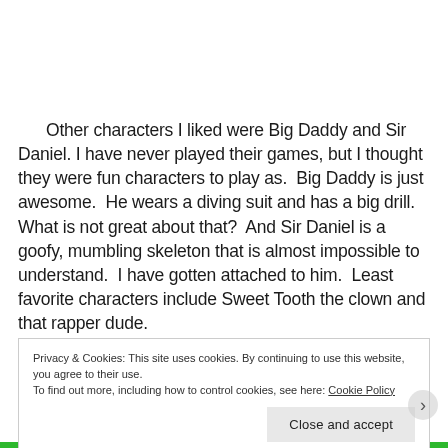Other characters I liked were Big Daddy and Sir Daniel. I have never played their games, but I thought they were fun characters to play as.  Big Daddy is just awesome.  He wears a diving suit and has a big drill.  What is not great about that?  And Sir Daniel is a goofy, mumbling skeleton that is almost impossible to understand.  I have gotten attached to him.  Least favorite characters include Sweet Tooth the clown and that rapper dude.
Privacy & Cookies: This site uses cookies. By continuing to use this website, you agree to their use. To find out more, including how to control cookies, see here: Cookie Policy